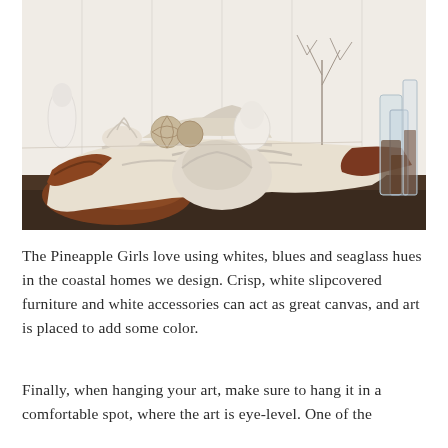[Figure (photo): A large, organic driftwood console table with a whitewashed/bleached surface and sections of reddish-brown wood, displayed against a white paneled wall. On top of the table are decorative objects including a white coral piece, woven orb sculptures, a shell or abstract white sculpture, and a delicate branching dried plant. To the right are tall glass vessels. The floor beneath is dark marble.]
The Pineapple Girls love using whites, blues and seaglass hues in the coastal homes we design. Crisp, white slipcovered furniture and white accessories can act as great canvas, and art is placed to add some color.
Finally, when hanging your art, make sure to hang it in a comfortable spot, where the art is eye-level. One of the